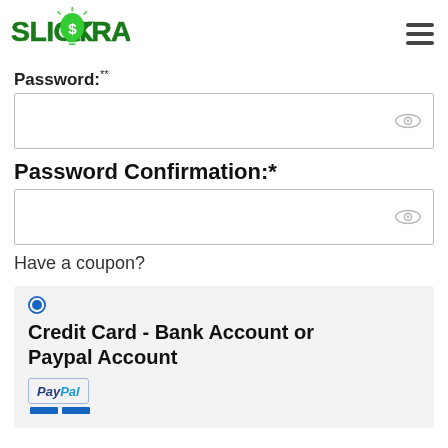[Figure (logo): Slick Trade logo with lightbulb and dollar sign, text in green block letters]
Password:*
[Figure (screenshot): Password input field with eye/visibility icon]
Password Confirmation:*
[Figure (screenshot): Password confirmation input field with eye/visibility icon]
Have a coupon?
Credit Card - Bank Account or Paypal Account
[Figure (logo): PayPal logo with blue bars underneath]